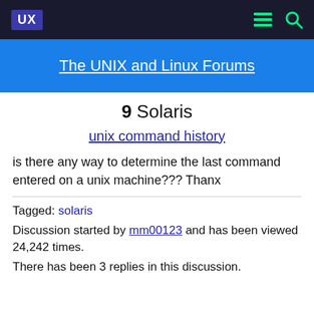UX  [menu icon] [search icon]
The UNIX and Linux Forums
9  Solaris
unix command history
is there any way to determine the last command entered on a unix machine??? Thanx
Tagged: solaris
Discussion started by mm00123 and has been viewed 24,242 times.
There has been 3 replies in this discussion.